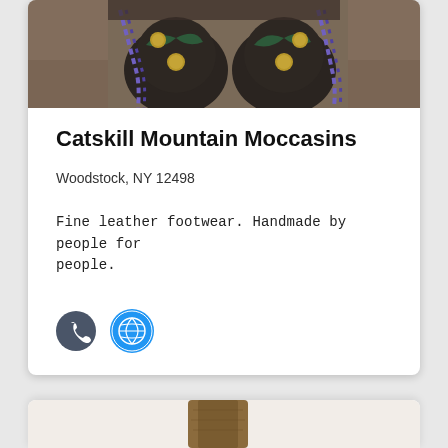[Figure (photo): Close-up photo of dark leather moccasin boots with green decorative leather accents, metal coin buttons, and purple braided cords, against a blurred outdoor background.]
Catskill Mountain Moccasins
Woodstock, NY 12498
Fine leather footwear. Handmade by people for people.
[Figure (illustration): Phone icon (dark gray circle with white phone handset) and globe icon (blue circle with white grid/globe lines) side by side.]
[Figure (photo): Partial view of brown leather boots, bottom card area.]